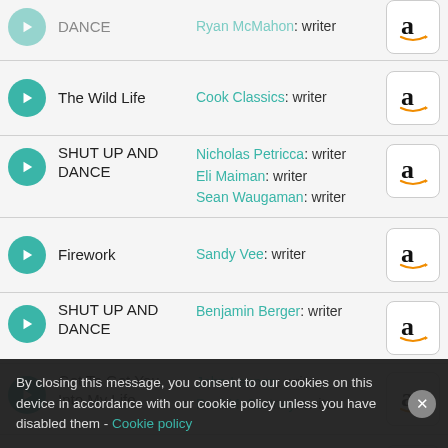DANCE | Ryan McMahon: writer
The Wild Life | Cook Classics: writer
SHUT UP AND DANCE | Nicholas Petricca: writer, Eli Maiman: writer, Sean Waugaman: writer
Firework | Sandy Vee: writer
SHUT UP AND DANCE | Benjamin Berger: writer
Got To Get You Into My Life | John Lennon: writer, Paul McCartney: writer
Hello | Lionel Richie: writer
By closing this message, you consent to our cookies on this device in accordance with our cookie policy unless you have disabled them - Cookie policy